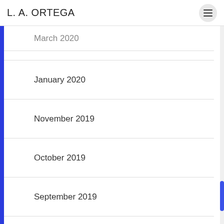L. A. ORTEGA
March 2020
January 2020
November 2019
October 2019
September 2019
August 2019
July 2019